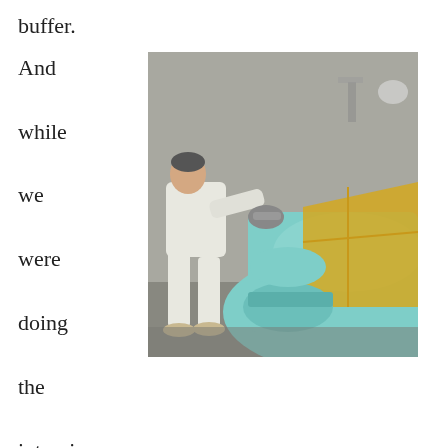buffer.
And while we were doing the interview, Bill was out in the spray booth carefully and gingerly finishing up his cut-and-rub process with a power buffer and his own concoctions of
[Figure (photo): A man in white paint-splattered overalls using a power buffer on the front hood area of a classic car painted in light mint/turquoise color. The car hood area is partially covered with yellow protective paper/masking. The scene appears to be inside a spray booth with grey floor.]